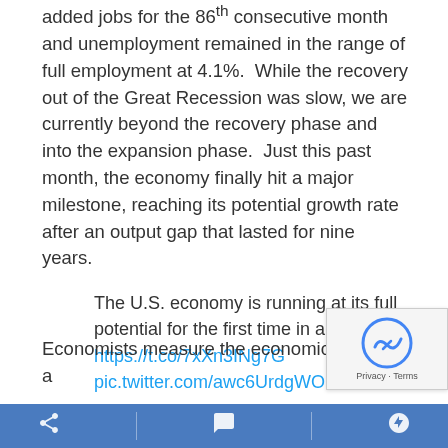added jobs for the 86th consecutive month and unemployment remained in the range of full employment at 4.1%.  While the recovery out of the Great Recession was slow, we are currently beyond the recovery phase and into the expansion phase.  Just this past month, the economy finally hit a major milestone, reaching its potential growth rate after an output gap that lasted for nine years.
The U.S. economy is running at its full potential for the first time in a decade https://t.co/7xXn3INg7G pic.twitter.com/awc6UrdgWO

— Real Time Economics (@WSJecon)
December 5, 2017
Economists measure the economic health of a